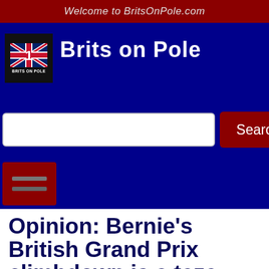Welcome to BritsOnPole.com
Brits on Pole
[Figure (logo): Brits on Pole logo: black square with UK flag and number 1, text BRITS ON POLE below]
Search
Opinion: Bernie's British Grand Prix climbdown is a teze